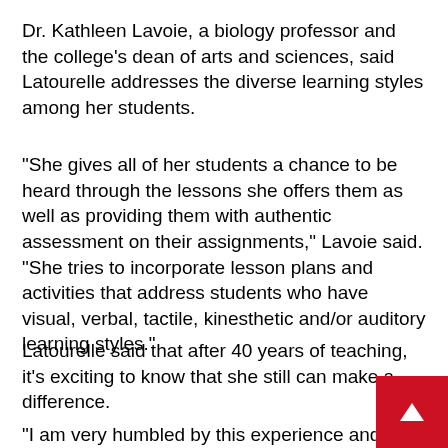Dr. Kathleen Lavoie, a biology professor and the college's dean of arts and sciences, said Latourelle addresses the diverse learning styles among her students.
“She gives all of her students a chance to be heard through the lessons she offers them as well as providing them with authentic assessment on their assignments,” Lavoie said. “She tries to incorporate lesson plans and activities that address students who have visual, verbal, tactile, kinesthetic and/or auditory learning styles.”
Latourelle said that after 40 years of teaching, it’s exciting to know that she still can make a difference.
“I am very humbled by this experience and truly